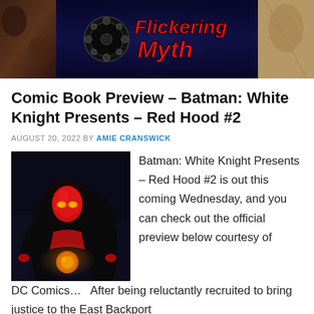[Figure (illustration): Flickering Myth website header banner with film reel logo, 'Flickering Myth' text in red italic font on dark background, with movie scene panels on either side]
Comic Book Preview – Batman: White Knight Presents – Red Hood #2
AUGUST 20, 2022 BY AMIE CRANSWICK
[Figure (illustration): Comic book cover art showing Red Hood character in red and black costume in dynamic pose against dark urban background]
Batman: White Knight Presents – Red Hood #2 is out this coming Wednesday, and you can check out the official preview below courtesy of DC Comics…   After being reluctantly recruited to bring justice to the East Backport